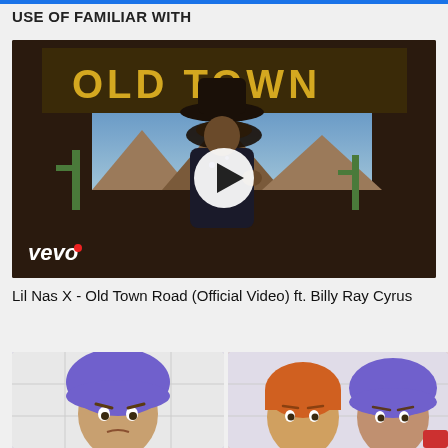USE OF FAMILIAR WITH
[Figure (screenshot): Thumbnail of Lil Nas X - Old Town Road music video on Vevo, showing performer in cowboy hat in front of 'OLD TOWN' sign, with a play button overlay]
Lil Nas X - Old Town Road (Official Video) ft. Billy Ray Cyrus
[Figure (photo): Two bottom thumbnails: left shows person wearing purple shower cap; right shows two people one with orange hair and one wearing purple shower cap]